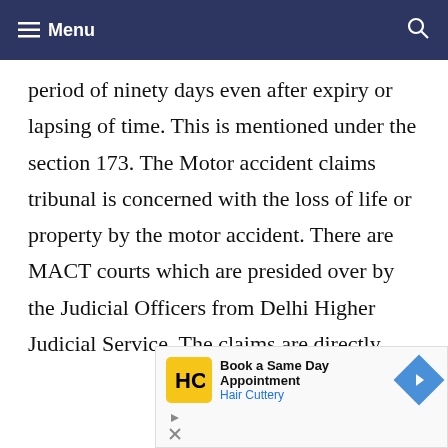Menu
period of ninety days even after expiry or lapsing of time. This is mentioned under the section 173. The Motor accident claims tribunal is concerned with the loss of life or property by the motor accident. There are MACT courts which are presided over by the Judicial Officers from Delhi Higher Judicial Service. The claims are directly
[Figure (other): Advertisement for Hair Cuttery - Book a Same Day Appointment]